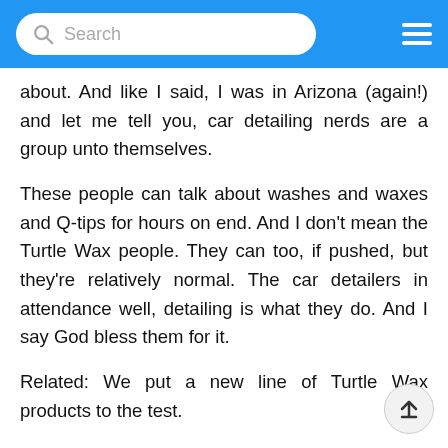Search
about. And like I said, I was in Arizona (again!) and let me tell you, car detailing nerds are a group unto themselves.

These people can talk about washes and waxes and Q-tips for hours on end. And I don't mean the Turtle Wax people. They can too, if pushed, but they're relatively normal. The car detailers in attendance well, detailing is what they do. And I say God bless them for it.

Related: We put a new line of Turtle Wax products to the test.

Turtle Wax brought them in from the far reaches of the globe. Exotic places like Belgium and Wyoming. All of